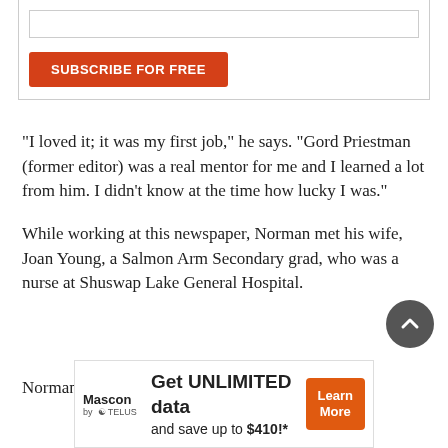[Figure (screenshot): Subscribe form box with input field and orange SUBSCRIBE FOR FREE button]
“I loved it; it was my first job,” he says. “Gord Priestman (former editor) was a real mentor for me and I learned a lot from him. I didn’t know at the time how lucky I was.”
While working at this newspaper, Norman met his wife, Joan Young, a Salmon Arm Secondary grad, who was a nurse at Shuswap Lake General Hospital.
Norman continued to work as a reporter when his wife
[Figure (screenshot): Mascon by TELUS advertisement banner: Get UNLIMITED data and save up to $410!* with Learn More button]